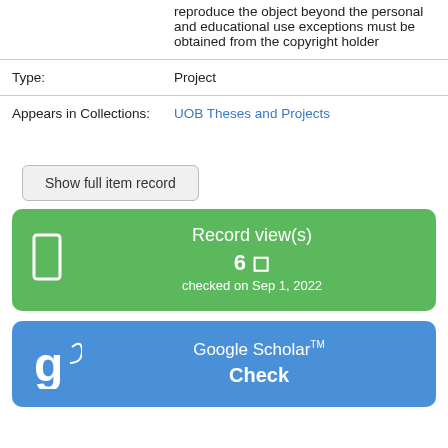|  | reproduce the object beyond the personal and educational use exceptions must be obtained from the copyright holder |
| Type: | Project |
| Appears in Collections: | UOB Theses and Projects |
Show full item record
[Figure (infographic): Green box showing Record view(s): 6, checked on Sep 1, 2022]
[Figure (infographic): Blue box showing Google Scholar TM Check button with Google Scholar logo]